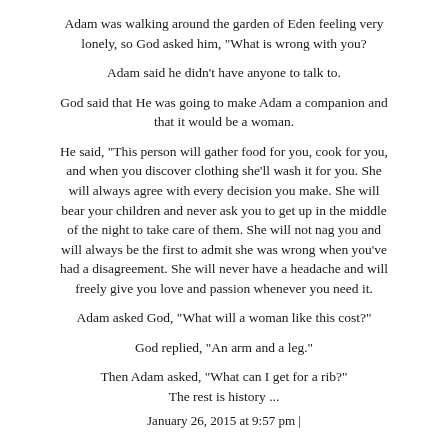Adam was walking around the garden of Eden feeling very lonely, so God asked him, "What is wrong with you?
Adam said he didn't have anyone to talk to.
God said that He was going to make Adam a companion and that it would be a woman.
He said, "This person will gather food for you, cook for you, and when you discover clothing she'll wash it for you. She will always agree with every decision you make. She will bear your children and never ask you to get up in the middle of the night to take care of them. She will not nag you and will always be the first to admit she was wrong when you've had a disagreement. She will never have a headache and will freely give you love and passion whenever you need it.
Adam asked God, "What will a woman like this cost?"
God replied, "An arm and a leg."
Then Adam asked, "What can I get for a rib?"
The rest is history ...
January 26, 2015 at 9:57 pm |